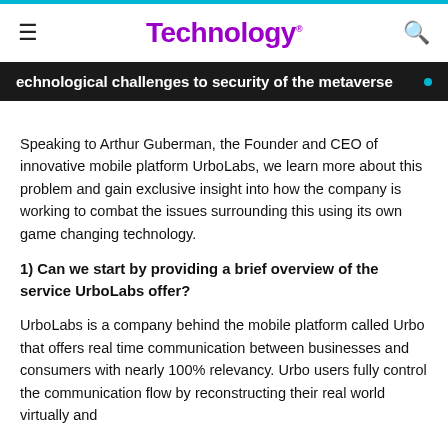Technology.
Technological challenges to security of the metaverse
Speaking to Arthur Guberman, the Founder and CEO of innovative mobile platform UrboLabs, we learn more about this problem and gain exclusive insight into how the company is working to combat the issues surrounding this using its own game changing technology.
1) Can we start by providing a brief overview of the service UrboLabs offer?
UrboLabs is a company behind the mobile platform called Urbo that offers real time communication between businesses and consumers with nearly 100% relevancy. Urbo users fully control the communication flow by reconstructing their real world virtually and